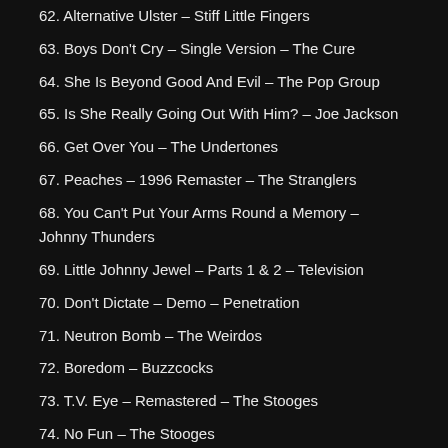62. Alternative Ulster – Stiff Little Fingers
63. Boys Don't Cry – Single Version – The Cure
64. She Is Beyond Good And Evil – The Pop Group
65. Is She Really Going Out With Him? – Joe Jackson
66. Get Over You – The Undertones
67. Peaches – 1996 Remaster – The Stranglers
68. You Can't Put Your Arms Round a Memory – Johnny Thunders
69. Little Johnny Jewel – Parts 1 & 2 – Television
70. Don't Dictate – Demo – Penetration
71. Neutron Bomb – The Weirdos
72. Boredom – Buzzcocks
73. T.V. Eye – Remastered – The Stooges
74. No Fun – The Stooges
75. I Wanna Be Your Dog – Remastered – The Stooges
76. Sister Anne – MC5
77. No More Heroes – 1996 Remaster – The Stranglers
78. I Don't Wanna – Sham 69
79. Let Me Dream If I Want To – Live – Mink DeVille
80. Borstal Breakout – Sham 69
81. Ambition – Subway Sect